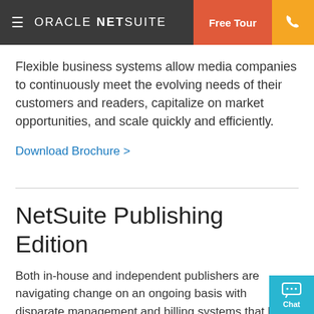ORACLE NETSUITE | Free Tour | Phone
Flexible business systems allow media companies to continuously meet the evolving needs of their customers and readers, capitalize on market opportunities, and scale quickly and efficiently.
Download Brochure >
NetSuite Publishing Edition
Both in-house and independent publishers are navigating change on an ongoing basis with disparate management and billing systems that leave leadership without a single actionable view of the